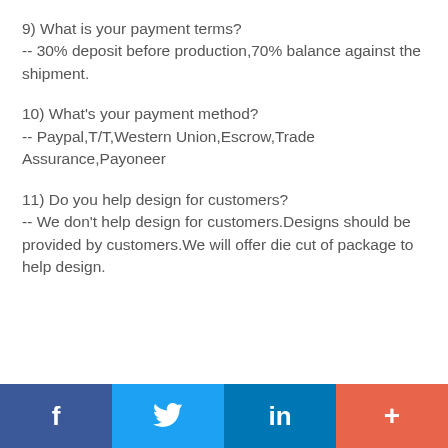9) What is your payment terms?
-- 30% deposit before production,70% balance against the shipment.
10) What's your payment method?
-- Paypal,T/T,Western Union,Escrow,Trade Assurance,Payoneer
11) Do you help design for customers?
-- We don't help design for customers.Designs should be provided by customers.We will offer die cut of package to help design.
f  🐦  in  +